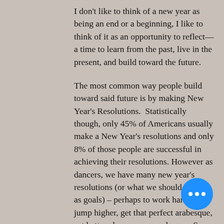I don't like to think of a new year as being an end or a beginning, I like to think of it as an opportunity to reflect—a time to learn from the past, live in the present, and build toward the future.
The most common way people build toward said future is by making New Year's Resolutions.  Statistically though, only 45% of Americans usually make a New Year's resolutions and only 8% of those people are successful in achieving their resolutions. However as dancers, we have many new year's resolutions (or what we should refer to as goals) – perhaps to work harder, jump higher, get that perfect arabesque, eat better, dance more, and so on. So how can you meet your own goals and expectations this New Year?